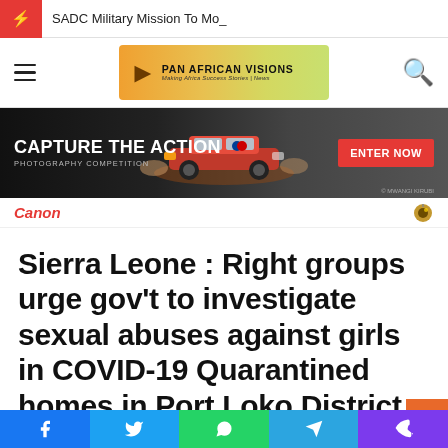SADC Military Mission To Mo_
[Figure (logo): Pan African Visions logo with African continent silhouette]
[Figure (photo): Canon Capture The Action Photography Competition banner ad with rally car]
Canon
Sierra Leone : Right groups urge gov't to investigate sexual abuses against girls in COVID-19 Quarantined homes in Port Loko District